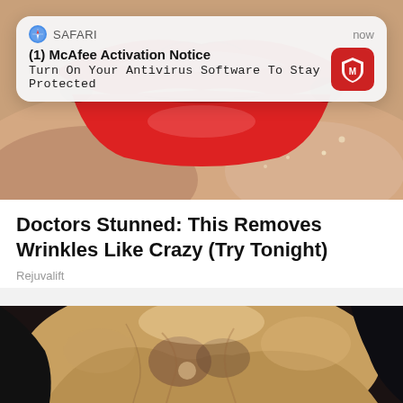[Figure (screenshot): Safari browser notification overlay showing McAfee Activation Notice on top of a close-up photo of lips with red lipstick]
Doctors Stunned: This Removes Wrinkles Like Crazy (Try Tonight)
Rejuvalift
[Figure (illustration): Digital illustration of a human face with stylized, painterly rendering showing nose and cheek area]